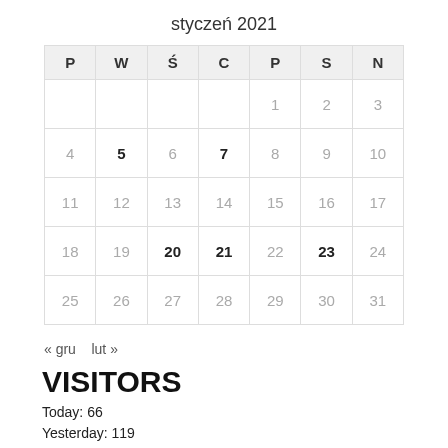styczeń 2021
| P | W | Ś | C | P | S | N |
| --- | --- | --- | --- | --- | --- | --- |
|  |  |  |  | 1 | 2 | 3 |
| 4 | 5 | 6 | 7 | 8 | 9 | 10 |
| 11 | 12 | 13 | 14 | 15 | 16 | 17 |
| 18 | 19 | 20 | 21 | 22 | 23 | 24 |
| 25 | 26 | 27 | 28 | 29 | 30 | 31 |
« gru    lut »
VISITORS
Today: 66
Yesterday: 119